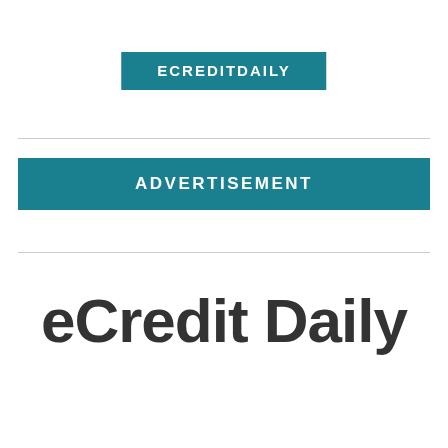ECREDITDAILY
ADVERTISEMENT
eCredit Daily